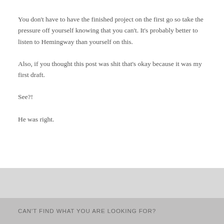You don't have to have the finished project on the first go so take the pressure off yourself knowing that you can't. It's probably better to listen to Hemingway than yourself on this.
Also, if you thought this post was shit that's okay because it was my first draft.
See?!
He was right.
CAN'T FIND WHAT YOU ARE LOOKING FOR?